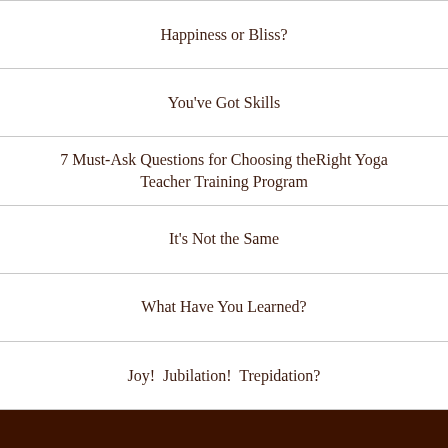Happiness or Bliss?
You've Got Skills
7 Must-Ask Questions for Choosing theRight Yoga Teacher Training Program
It's Not the Same
What Have You Learned?
Joy!  Jubilation!  Trepidation?